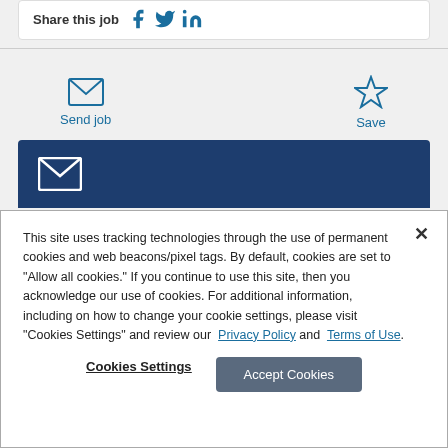Share this job
[Figure (screenshot): Send job icon (envelope) and Save icon (star) action buttons with teal color]
[Figure (screenshot): Dark blue banner with white envelope icon]
This site uses tracking technologies through the use of permanent cookies and web beacons/pixel tags. By default, cookies are set to "Allow all cookies." If you continue to use this site, then you acknowledge our use of cookies. For additional information, including on how to change your cookie settings, please visit "Cookies Settings" and review our Privacy Policy and Terms of Use.
Cookies Settings
Accept Cookies